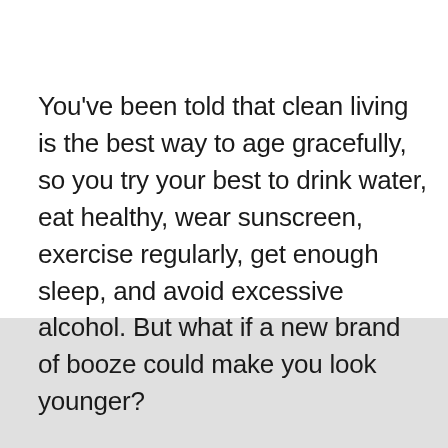You've been told that clean living is the best way to age gracefully, so you try your best to drink water, eat healthy, wear sunscreen, exercise regularly, get enough sleep, and avoid excessive alcohol. But what if a new brand of booze could make you look younger?